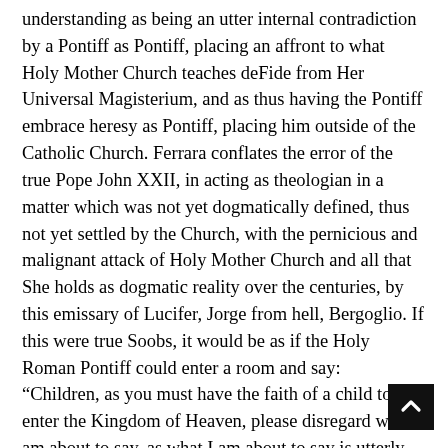understanding as being an utter internal contradiction by a Pontiff as Pontiff, placing an affront to what Holy Mother Church teaches deFide from Her Universal Magisterium, and as thus having the Pontiff embrace heresy as Pontiff, placing him outside of the Catholic Church. Ferrara conflates the error of the true Pope John XXII, in acting as theologian in a matter which was not yet dogmatically defined, thus not yet settled by the Church, with the pernicious and malignant attack of Holy Mother Church and all that She holds as dogmatic reality over the centuries, by this emissary of Lucifer, Jorge from hell, Bergoglio. If this were true Soobs, it would be as if the Holy Roman Pontiff could enter a room and say: “Children, as you must have the faith of a child to enter the Kingdom of Heaven, please disregard what I am about to say, as what I am about to say is utterly contrary to the teaching of Holy Mother Church and as thus will cause you scandal to a degree that may encourage you to lose your faith, but don’t worry now,